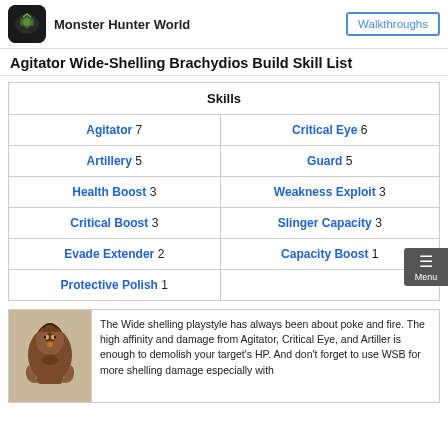Monster Hunter World  Walkthroughs
Agitator Wide-Shelling Brachydios Build Skill List
| Skills |
| --- |
| Agitator 7 | Critical Eye 6 |
| Artillery 5 | Guard 5 |
| Health Boost 3 | Weakness Exploit 3 |
| Critical Boost 3 | Slinger Capacity 3 |
| Evade Extender 2 | Capacity Boost 1 |
| Protective Polish 1 |  |
The Wide shelling playstyle has always been about poke and fire. The high affinity and damage from Agitator, Critical Eye, and Artiller is enough to demolish your target's HP. And don't forget to use WSB for more shelling damage especially with